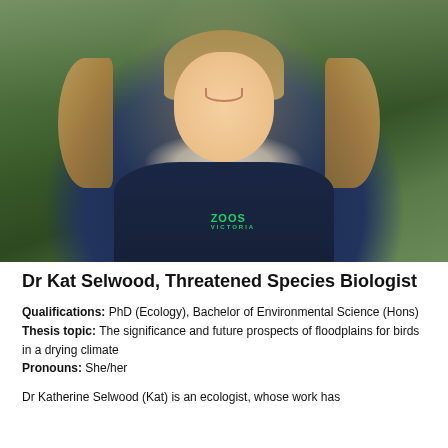[Figure (photo): Professional headshot of Dr Kat Selwood smiling, wearing a navy Zoos Victoria fleece jacket, photographed outdoors with green foliage background]
Dr Kat Selwood, Threatened Species Biologist
Qualifications: PhD (Ecology), Bachelor of Environmental Science (Hons)
Thesis topic: The significance and future prospects of floodplains for birds in a drying climate
Pronouns: She/her
Dr Katherine Selwood (Kat) is an ecologist, whose work has